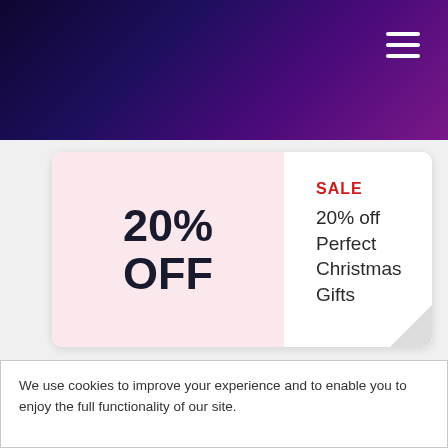[Figure (screenshot): Purple gradient navigation header bar with hamburger menu icon in top right]
20% OFF
SALE
20% off Perfect Christmas Gifts
SALE
OFFER
Shop Camping Gear - Easily Attaches to Your Canopy
We use cookies to improve your experience and to enable you to enjoy the full functionality of our site.